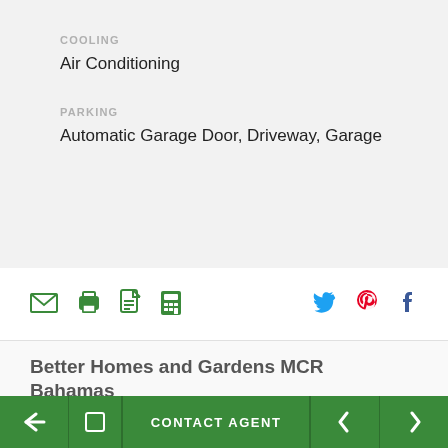COOLING
Air Conditioning
PARKING
Automatic Garage Door, Driveway, Garage
[Figure (infographic): Row of action icons: email, print, PDF/Acrobat, calculator on the left; Twitter, Pinterest, Facebook social icons on the right]
Better Homes and Gardens MCR Bahamas
[Figure (infographic): Bottom navigation bar with back arrow button, unknown button, CONTACT AGENT button, and left/right navigation arrow buttons on green background]